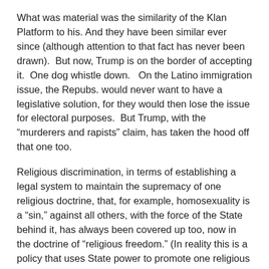What was material was the similarity of the Klan Platform to his. And they have been similar ever since (although attention to that fact has never been drawn). But now, Trump is on the border of accepting it. One dog whistle down. On the Latino immigration issue, the Repubs. would never want to have a legislative solution, for they would then lose the issue for electoral purposes. But Trump, with the “murderers and rapists” claim, has taken the hood off that one too.
Religious discrimination, in terms of establishing a legal system to maintain the supremacy of one religious doctrine, that, for example, homosexuality is a “sin,” against all others, with the force of the State behind it, has always been covered up too, now in the doctrine of “religious freedom.” (In reality this is a policy that uses State power to promote one religious belief at the expense of all others. E.g., many women seeking abortions are quite religious as are many gay couple wanting to get married.) So then Trump proposes discriminating against Muslims, in the name of “national security.” That doesn’t sit well with many Repub. establishment types, especially those who do business with the Muslim world (like guess who?)